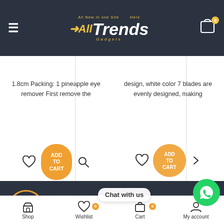[Figure (screenshot): AllTrends website header with hamburger menu, logo, and cart icon with badge 0]
1.8cm Packing: 1 pineapple eye remover First remove the
design, white color 7 blades are evenly designed, making
[Figure (screenshot): ADD TO CART orange button with heart and search icons]
[Figure (screenshot): ADD TO CART orange circle button with heart icon, partially overlaid by Chat with us popup and WhatsApp green button]
[Figure (screenshot): WhatsApp support section with 24/7 Support heading and phone number]
24/7 Support.
Whatsapp: (+44) 7513403374.
Free Shipping
Shop   Wishlist   Cart   My account